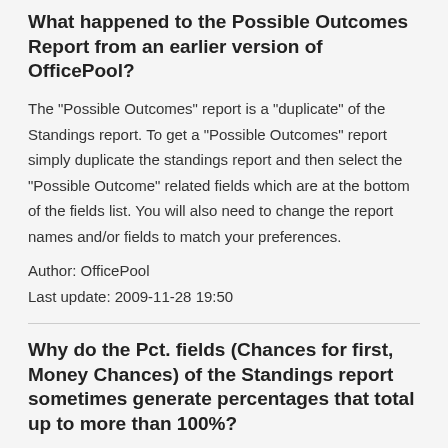What happened to the Possible Outcomes Report from an earlier version of OfficePool?
The "Possible Outcomes" report is a "duplicate" of the Standings report. To get a "Possible Outcomes" report simply duplicate the standings report and then select the "Possible Outcome" related fields which are at the bottom of the fields list. You will also need to change the report names and/or fields to match your preferences.
Author: OfficePool
Last update: 2009-11-28 19:50
Why do the Pct. fields (Chances for first, Money Chances) of the Standings report sometimes generate percentages that total up to more than 100%?
These "Possible Outcome" fields do not take into account any Tiebreaker settings you have set and therefore will count "Chances" more than once because of ties.